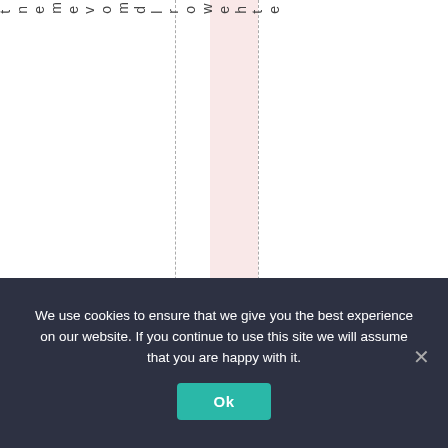[Figure (other): White area with a pink/blush vertical band, two dashed vertical lines, and vertical text reading 'the world movement(' running top to bottom]
We use cookies to ensure that we give you the best experience on our website. If you continue to use this site we will assume that you are happy with it.
Ok